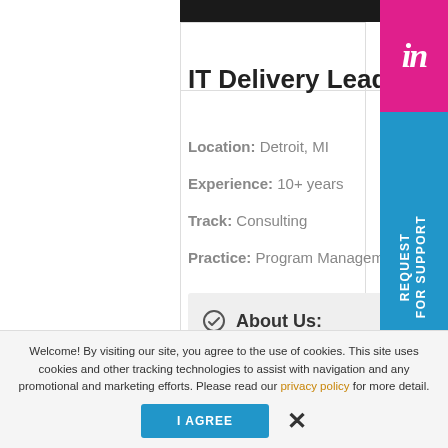[Figure (screenshot): LinkedIn logo badge in magenta/pink background with white 'in' text]
IT Delivery Lead
Location: Detroit, MI
Experience: 10+ years
Track: Consulting
Practice: Program Management
About Us:
Job Description:
REQUEST FOR SUPPORT
Welcome! By visiting our site, you agree to the use of cookies. This site uses cookies and other tracking technologies to assist with navigation and any promotional and marketing efforts. Please read our privacy policy for more detail.